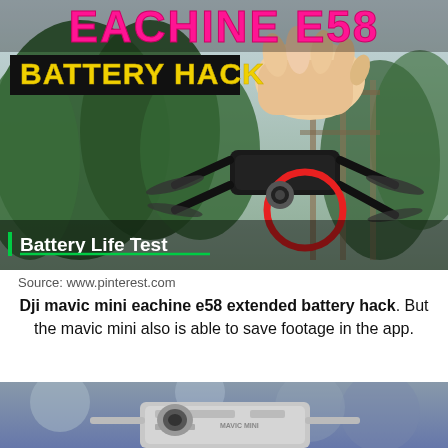[Figure (photo): Eachine E58 drone battery hack thumbnail image showing a hand holding a small drone outdoors with trees in background. Text overlay reads 'EACHINE E58' in pink/magenta font at top and 'BATTERY HACK' in yellow on black banner below. Lower left corner has text 'Battery Life Test' with a green underline. A red circle highlights the battery area of the drone.]
Source: www.pinterest.com
Dji mavic mini eachine e58 extended battery hack. But the mavic mini also is able to save footage in the app.
[Figure (photo): Partial photo of a DJI Mavic Mini drone with blurred background, showing the bottom portion of the drone in focus.]